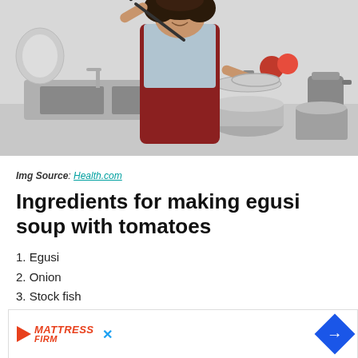[Figure (photo): Woman in a red apron cooking in a kitchen, holding a ladle and pot lid, smiling. Kitchen sink, plates, kettle, pots, and tomatoes visible in background.]
Img Source: Health.com
Ingredients for making egusi soup with tomatoes
1. Egusi
2. Onion
3. Stock fish
4. Salt
5. Seasoning cubes (maggi)
6. Fresh...
7. Fresh...